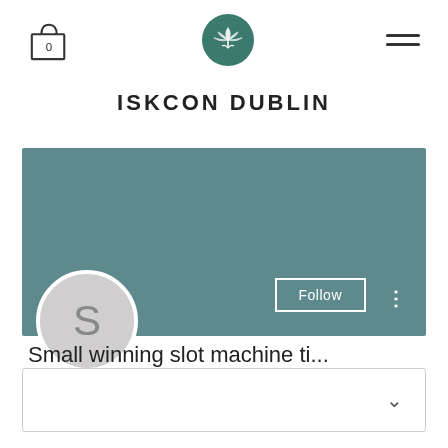[Figure (screenshot): Website navigation bar with shopping bag icon (0), circular lotus logo, and hamburger menu lines]
ISKCON DUBLIN
[Figure (screenshot): Teal/dark cyan profile banner with Follow button and vertical dots menu]
[Figure (illustration): Circular user avatar with letter S on light grey background]
Small winning slot machine ti...
0 Followers • 0 Following
[Figure (screenshot): Collapsed content box with a downward chevron arrow on the right]